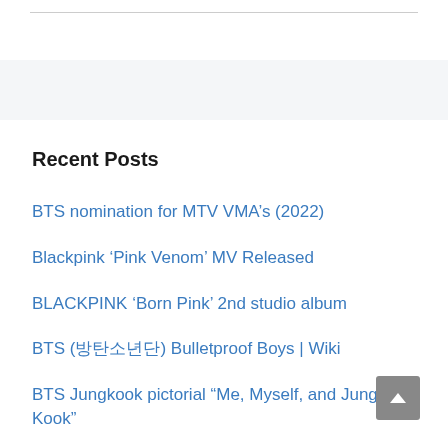Recent Posts
BTS nomination for MTV VMA’s (2022)
Blackpink ‘Pink Venom’ MV Released
BLACKPINK ‘Born Pink’ 2nd studio album
BTS (신샌손샌) Bulletproof Boys | Wiki
BTS Jungkook pictorial “Me, Myself, and Jung Kook”